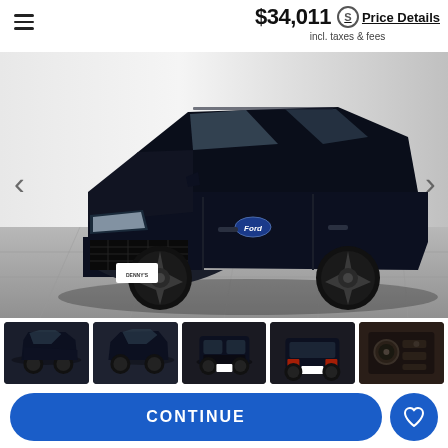☰
$34,011 Price Details
incl. taxes & fees
[Figure (photo): Black Ford Escape SUV shown from front-left three-quarter view, parked on a tiled surface with a white gradient background. Vehicle is dark navy/black with stylish alloy wheels.]
[Figure (photo): Thumbnail 1: Black Ford Escape, front three-quarter view (active/selected)]
[Figure (photo): Thumbnail 2: Black Ford Escape, front three-quarter view slightly different angle]
[Figure (photo): Thumbnail 3: Black Ford Escape, front direct view]
[Figure (photo): Thumbnail 4: Black Ford Escape, rear direct view]
[Figure (photo): Thumbnail 5: Interior/detail partial view showing center console]
CONTINUE